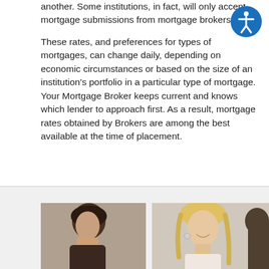another. Some institutions, in fact, will only accept mortgage submissions from mortgage brokers.
These rates, and preferences for types of mortgages, can change daily, depending on economic circumstances or based on the size of an institution's portfolio in a particular type of mortgage. Your Mortgage Broker keeps current and knows which lender to approach first. As a result, mortgage rates obtained by Brokers are among the best available at the time of placement.
[Figure (photo): Two photos side by side showing people, partially visible at the bottom of the page. Left photo shows a dark-haired person, right photo shows a blonde woman smiling.]